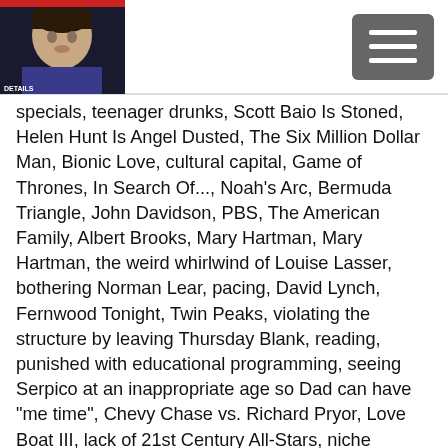[Header with photo/logo and menu button]
specials, teenager drunks, Scott Baio Is Stoned, Helen Hunt Is Angel Dusted, The Six Million Dollar Man, Bionic Love, cultural capital, Game of Thrones, In Search Of..., Noah's Arc, Bermuda Triangle, John Davidson, PBS, The American Family, Albert Brooks, Mary Hartman, Mary Hartman, the weird whirlwind of Louise Lasser, bothering Norman Lear, pacing, David Lynch, Fernwood Tonight, Twin Peaks, violating the structure by leaving Thursday Blank, reading, punished with educational programming, seeing Serpico at an inappropriate age so Dad can have "me time", Chevy Chase vs. Richard Pryor, Love Boat III, lack of 21st Century All-Stars, niche programming, Hotels of North America, Motel Room Television, Dateline, Shock Theater, Chiller Theater, Creature Features, WPIX, Thanksgiving with King Kong, The 4:30 Movie, Mothra, Four Fingers of Death's relation to the Crawling Hand, why The Ice Storm and Garden State are period pieces, the Wire, Golden Age of TV, remaking movies, being too upset by horror movies, terrified of "The Thing", David Cronenberg, Hostel, The Mummy's Curse, The Blob, The Monkees, Teen Mom, HBO Go, The Bachelor, admitting